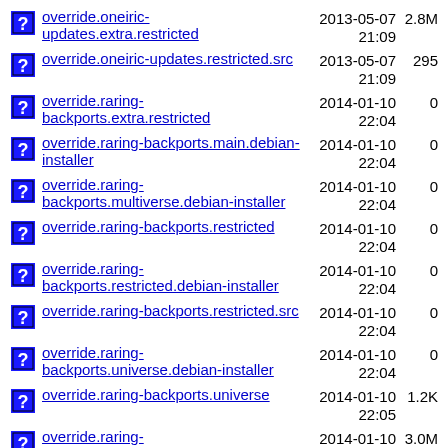override.oneiric-updates.extra.restricted 2013-05-07 21:09 2.8M
override.oneiric-updates.restricted.src 2013-05-07 21:09 295
override.raring-backports.extra.restricted 2014-01-10 22:04 0
override.raring-backports.main.debian-installer 2014-01-10 22:04 0
override.raring-backports.multiverse.debian-installer 2014-01-10 22:04 0
override.raring-backports.restricted 2014-01-10 22:04 0
override.raring-backports.restricted.debian-installer 2014-01-10 22:04 0
override.raring-backports.restricted.src 2014-01-10 22:04 0
override.raring-backports.universe.debian-installer 2014-01-10 22:04 0
override.raring-backports.universe 2014-01-10 22:05 1.2K
override.raring-backports.extra.universe 2014-01-10 22:05 3.0M